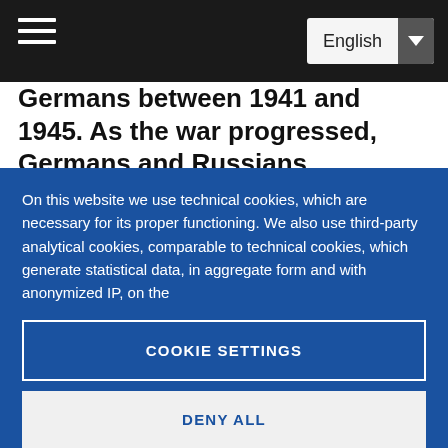English
Germans between 1941 and 1945. As the war progressed, Germans and Russians
On this website we use technical cookies, which are necessary for its proper functioning. We also use third-party analytical cookies, comparable to technical cookies, which generate statistical data, in aggregate form and with anonymized IP, on the
COOKIE SETTINGS
DENY ALL
ACCEPT ALL